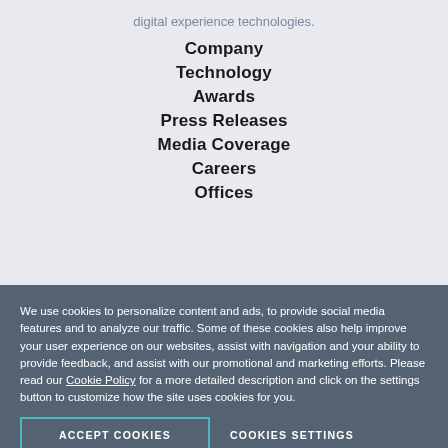digital experience technologies.
Company
Technology
Awards
Press Releases
Media Coverage
Careers
Offices
We use cookies to personalize content and ads, to provide social media features and to analyze our traffic. Some of these cookies also help improve your user experience on our websites, assist with navigation and your ability to provide feedback, and assist with our promotional and marketing efforts. Please read our Cookie Policy for a more detailed description and click on the settings button to customize how the site uses cookies for you.
ACCEPT COOKIES
COOKIES SETTINGS